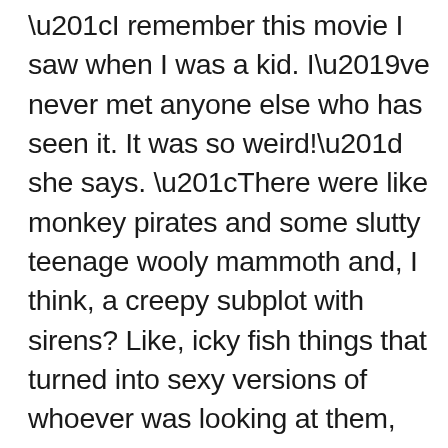“I remember this movie I saw when I was a kid. I’ve never met anyone else who has seen it. It was so weird!” she says. “There were like monkey pirates and some slutty teenage wooly mammoth and, I think, a creepy subplot with sirens? Like, icky fish things that turned into sexy versions of whoever was looking at them, even that evil monkey pirate? And the Earth was melting? And a big whale and a lot of violence and even some guinea pig things that were super into Braveheart? I have no idea if this movie even exists, really, but it also had a bunch of family-friendly messages that were way too on-the-nose. I don’t know, maybe it was like a